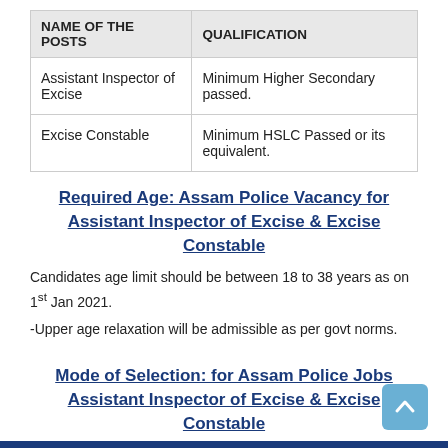| NAME OF THE POSTS | QUALIFICATION |
| --- | --- |
| Assistant Inspector of Excise | Minimum Higher Secondary passed. |
| Excise Constable | Minimum HSLC Passed or its equivalent. |
Required Age: Assam Police Vacancy for Assistant Inspector of Excise & Excise Constable
Candidates age limit should be between 18 to 38 years as on 1st Jan 2021.
-Upper age relaxation will be admissible as per govt norms.
Mode of Selection: for Assam Police Jobs Assistant Inspector of Excise & Excise Constable